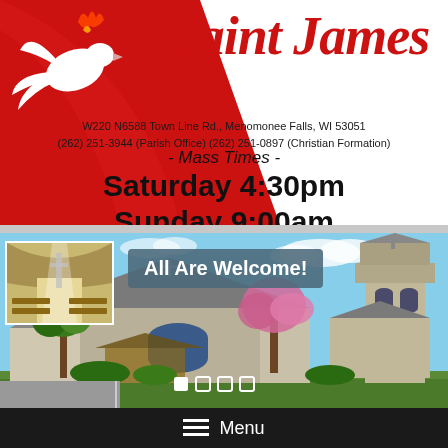[Figure (logo): Saint James Parish header with red swoosh background, dove logo, parish name in red italic script, address and phone numbers, and mass times information]
Saint James
W220 N6588 Town Line Rd., Menomonee Falls, WI 53051
(262) 251-3944 (Parish Office) (262) 251-0897 (Christian Formation)
- Mass Times -
Saturday 4:30pm
Sunday 9:00am
[Figure (photo): Church exterior photo showing Saint James parish building with bell tower, trees with pink blossoms, and blue sky. Small interior thumbnail in top left corner. 'All Are Welcome!' banner overlay.]
≡ Menu